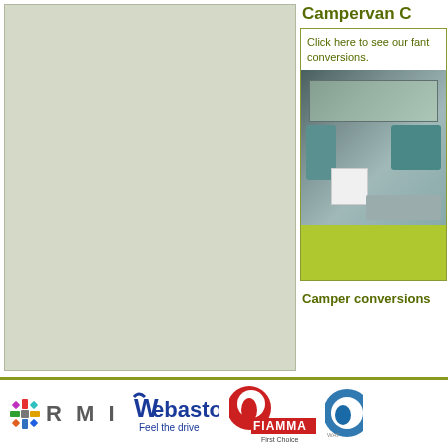Campervan C
Click here to see our fant conversions.
[Figure (photo): Interior of a campervan showing seats with teal/blue upholstery, windows, cabinetry and a white refrigerator unit]
Camper conversions
[Figure (logo): RMI logo with colorful cross emblem and bold RMI text]
[Figure (logo): Webasto logo with text 'Feel the drive']
[Figure (logo): FIAMMA logo with tagline 'First Choice']
[Figure (logo): Partial W logo (Whale/Waterline) partially cut off]